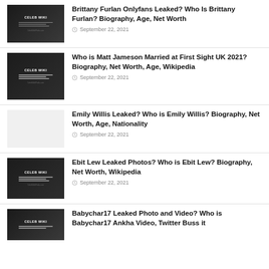Brittany Furlan Onlyfans Leaked? Who Is Brittany Furlan? Biography, Age, Net Worth — September 22, 2021
Who is Matt Jameson Married at First Sight UK 2021? Biography, Net Worth, Age, Wikipedia — September 22, 2021
Emily Willis Leaked? Who is Emily Willis? Biography, Net Worth, Age, Nationality — September 22, 2021
Ebit Lew Leaked Photos? Who is Ebit Lew? Biography, Net Worth, Wikipedia — September 22, 2021
Babychar17 Leaked Photo and Video? Who is Babychar17 Ankha Video, Twitter Buss it